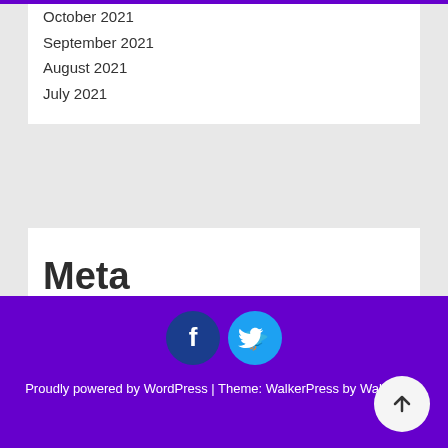October 2021
September 2021
August 2021
July 2021
Meta
Log in
Entries feed
Comments feed
WordPress.org
[Figure (infographic): Social media icons: Facebook (dark blue circle) and Twitter (light blue circle)]
Proudly powered by WordPress | Theme: WalkerPress by WalkerWP.